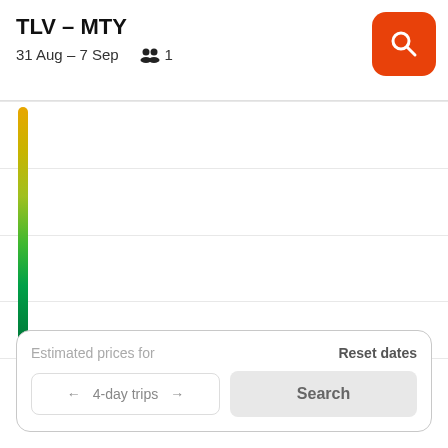TLV – MTY
31 Aug – 7 Sep   👥 1
[Figure (other): Vertical color gradient bar (yellow to green) representing price scale, with horizontal dividing lines across the chart area. A single dot marker at the bottom.]
.
Estimated prices for
Reset dates
← 4-day trips →
Search